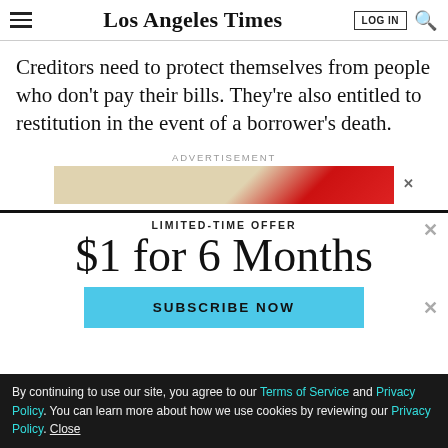Los Angeles Times | LOG IN | Search
Creditors need to protect themselves from people who don't pay their bills. They're also entitled to restitution in the event of a borrower's death.
ADVERTISEMENT
[Figure (other): Advertisement banner with tan/red gradient and close X button]
LIMITED-TIME OFFER
$1 for 6 Months
SUBSCRIBE NOW
By continuing to use our site, you agree to our Terms of Service and Privacy Policy. You can learn more about how we use cookies by reviewing our Privacy Policy. Close